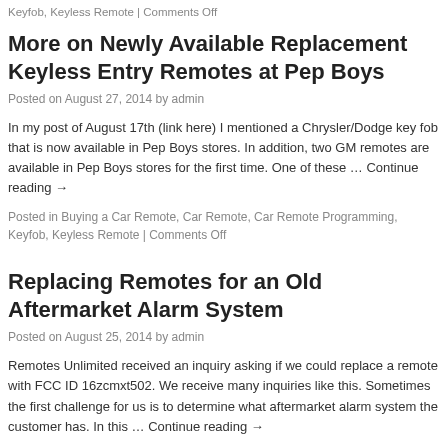Keyfob, Keyless Remote | Comments Off
More on Newly Available Replacement Keyless Entry Remotes at Pep Boys
Posted on August 27, 2014 by admin
In my post of August 17th (link here) I mentioned a Chrysler/Dodge key fob that is now available in Pep Boys stores. In addition, two GM remotes are available in Pep Boys stores for the first time. One of these … Continue reading →
Posted in Buying a Car Remote, Car Remote, Car Remote Programming, Keyfob, Keyless Remote | Comments Off
Replacing Remotes for an Old Aftermarket Alarm System
Posted on August 25, 2014 by admin
Remotes Unlimited received an inquiry asking if we could replace a remote with FCC ID 16zcmxt502. We receive many inquiries like this. Sometimes the first challenge for us is to determine what aftermarket alarm system the customer has. In this … Continue reading →